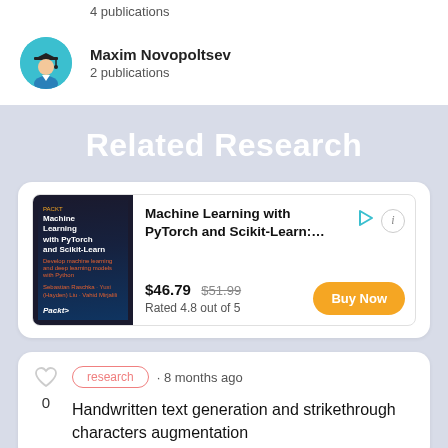4 publications
Maxim Novopoltsev
2 publications
Related Research
[Figure (other): Book advertisement for Machine Learning with PyTorch and Scikit-Learn with price $46.79 (was $51.99), rated 4.8 out of 5, with a Buy Now button]
research · 8 months ago
Handwritten text generation and strikethrough characters augmentation